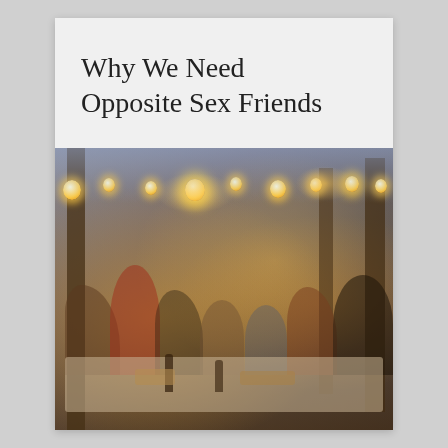Why We Need Opposite Sex Friends
[Figure (photo): A group of diverse young adults celebrating outdoors at night with string lights, food on a table, trees in background, warm festive atmosphere]